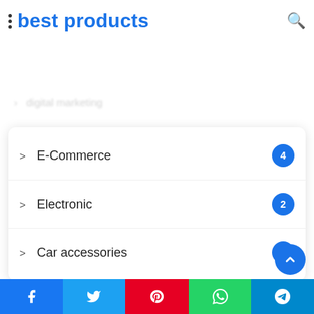best products
E-Commerce — 4
Electronic — 2
Car accessories — 1
[Figure (screenshot): Social share bar with Facebook, Twitter, Pinterest, WhatsApp, Telegram buttons]